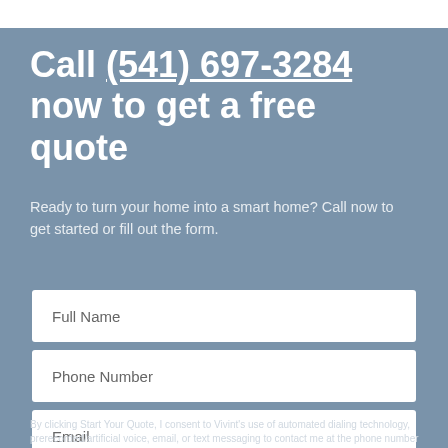Call (541) 697-3284 now to get a free quote
Ready to turn your home into a smart home? Call now to get started or fill out the form.
[Figure (other): Web form with three input fields: Full Name, Phone Number, Email]
By clicking Start Your Quote, I consent to Vivint's use of automated dialing technology, prerecorded/artificial voice, email, or text messaging to contact me at the phone number and email provided about Vivint and Vivint offers. I understand